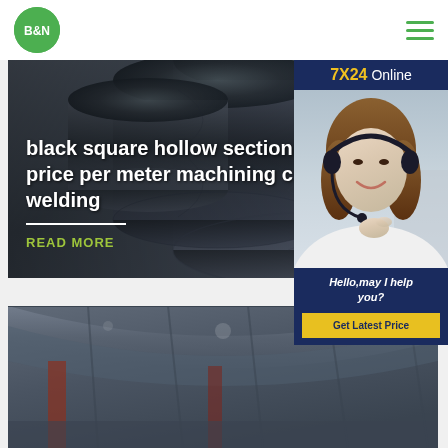[Figure (logo): B&N logo in green circle]
[Figure (illustration): Hamburger menu icon with three green horizontal lines]
[Figure (photo): Dark steel spiral welded pipes stacked together, grey background banner image]
black square hollow section price per meter machining c welding
READ MORE
[Figure (photo): Customer service representative woman with headset smiling, 7X24 Online chat widget with blue background, Hello may I help you text and Get Latest Price yellow button]
[Figure (photo): Second product image showing industrial steel structure interior ceiling]